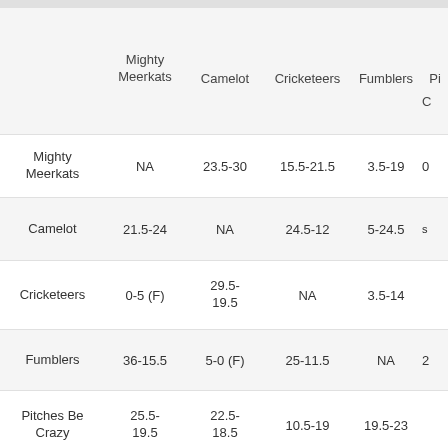|  | Mighty Meerkats | Camelot | Cricketeers | Fumblers | Pi... |
| --- | --- | --- | --- | --- | --- |
| Mighty Meerkats | NA | 23.5-30 | 15.5-21.5 | 3.5-19 | 0... |
| Camelot | 21.5-24 | NA | 24.5-12 | 5-24.5 | ... |
| Cricketeers | 0-5 (F) | 29.5-19.5 | NA | 3.5-14 | ... |
| Fumblers | 36-15.5 | 5-0 (F) | 25-11.5 | NA | 2... |
| Pitches Be Crazy | 25.5-19.5 | 22.5-18.5 | 10.5-19 | 19.5-23 | ... |
| Tor Totti | 16-7.5 | 21.5-11 | 26-11 | 5-0 (F) | ... |